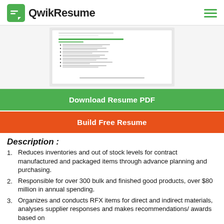QwikResume
[Figure (screenshot): Preview of a resume document showing Senior Procurement Analyst role at Delta Corporation]
Download Resume PDF
Build Free Resume
Description :
Reduces inventories and out of stock levels for contract manufactured and packaged items through advance planning and purchasing.
Responsible for over 300 bulk and finished good products, over $80 million in annual spending.
Organizes and conducts RFX items for direct and indirect materials, analyses supplier responses and makes recommendations/ awards based on